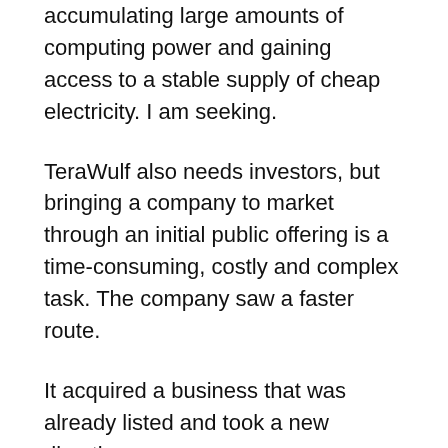accumulating large amounts of computing power and gaining access to a stable supply of cheap electricity. I am seeking.
TeraWulf also needs investors, but bringing a company to market through an initial public offering is a time-consuming, costly and complex task. The company saw a faster route.
It acquired a business that was already listed and took a new direction.
From the beginning, TeraWulf revealed that he was not interested in building a legacy business for Ikonics. In fact, it has announced its intention to sell these assets and businesses related to screen printing, etching and photochemical applications.